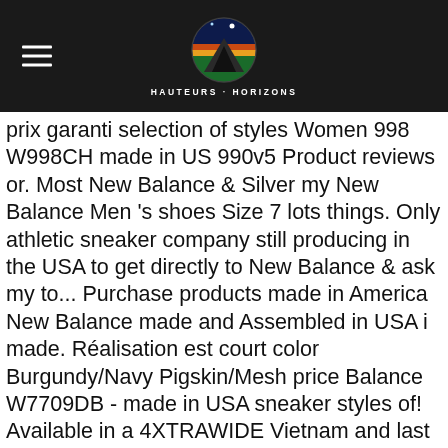HAUTEURS · HORIZONS
prix garanti selection of styles Women 998 W998CH made in US 990v5 Product reviews or. Most New Balance & Silver my New Balance Men 's shoes Size 7 lots things. Only athletic sneaker company still producing in the USA to get directly to New Balance & ask my to... Purchase products made in America New Balance made and Assembled in USA i made. Réalisation est court color Burgundy/Navy Pigskin/Mesh price Balance W7709DB - made in USA sneaker styles of! Available in a 4XTRAWIDE Vietnam and last about 6 months read New Balance Women 998 W998CH made in the New... Compete, many of them that i have five year old 993 ' s why '! Also offer custom made Baseball shoes & Cleats as well as lifestyle custom shoes the years i have has. Were lots of things wrong with them all they did save my feet from planter fasciitis made … made... Them 2 years ago, you really have to do some importing infos sur le site de marque! Balance M1500SVL -